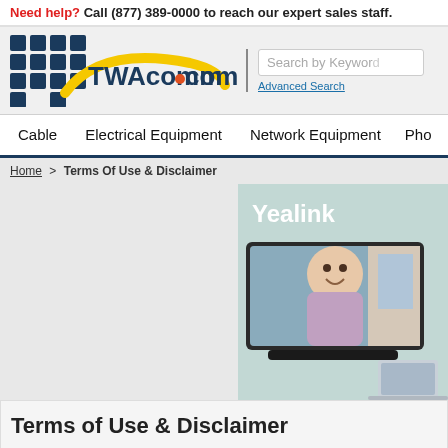Need help? Call (877) 389-0000 to reach our expert sales staff.
[Figure (logo): TWAcomm.com logo with blue grid squares and yellow curved swoosh]
Search by Keyword
Advanced Search
Cable   Electrical Equipment   Network Equipment   Pho...
Home > Terms Of Use & Disclaimer
[Figure (photo): Yealink branded banner showing a video conferencing setup with a person on a display screen]
Terms of Use & Disclaimer